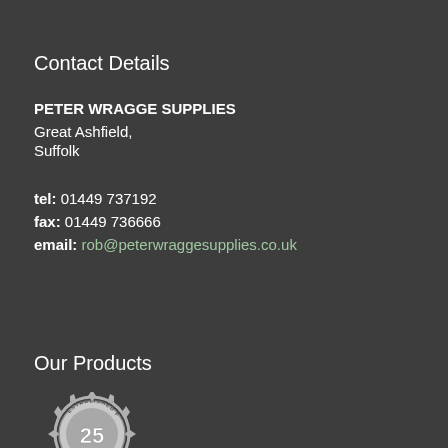Contact Details
PETER WRAGGE SUPPLIES
Great Ashfield,
Suffolk
tel: 01449 737192
fax: 01449 736666
email: rob@peterwraggesupplies.co.uk
Our Products
[Figure (logo): Silver badge/seal with text 'ESTABLISHED FOR 25' and star/sunburst decorations around the edge]